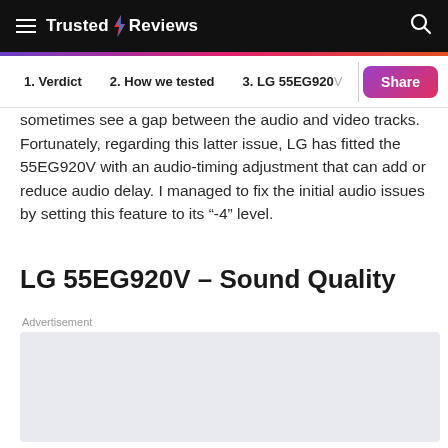Trusted Reviews
sometimes see a gap between the audio and video tracks. Fortunately, regarding this latter issue, LG has fitted the 55EG920V with an audio-timing adjustment that can add or reduce audio delay. I managed to fix the initial audio issues by setting this feature to its "-4" level.
LG 55EG920V – Sound Quality
Advertisement